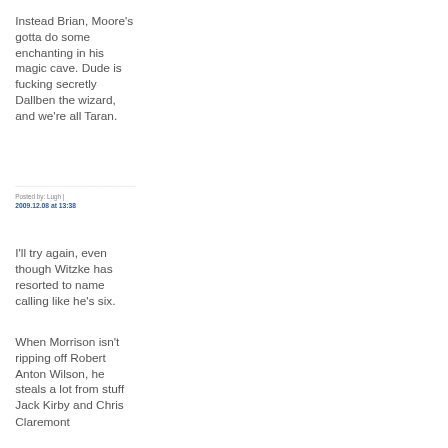Instead Brian, Moore's gotta do some enchanting in his magic cave. Dude is fucking secretly Dallben the wizard, and we're all Taran.
Posted by: Lugh | 2009.12.08 at 13:38
I'll try again, even though Witzke has resorted to name calling like he's six.
When Morrison isn't ripping off Robert Anton Wilson, he steals a lot from stuff Jack Kirby and Chris Claremont